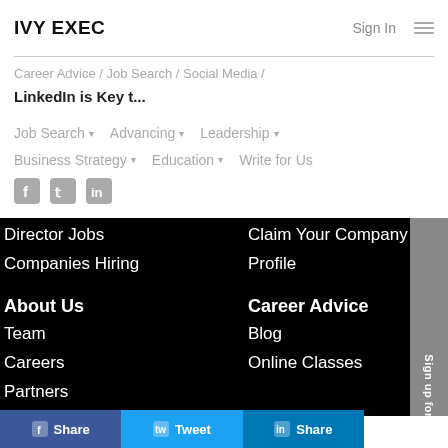IVY EXEC
Career Advice / Job Search / Social Media /
LinkedIn is Key t...
Job Search ▾  Advancing ▾  Leadership ▾  Business Strategy ▾  Education ▾  Write for Us
[Figure (other): Social media icons: Facebook, Twitter, LinkedIn]
Director Jobs
Companies Hiring
Claim Your Company Profile
About Us
Career Advice
Team
Careers
Partners
Blog
Online Classes
Share  Tweet  Share